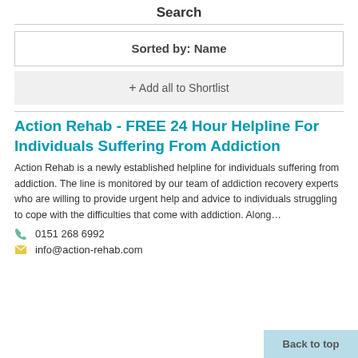Search
Sorted by: Name
+ Add all to Shortlist
Action Rehab - FREE 24 Hour Helpline For Individuals Suffering From Addiction
Action Rehab is a newly established helpline for individuals suffering from addiction. The line is monitored by our team of addiction recovery experts who are willing to provide urgent help and advice to individuals struggling to cope with the difficulties that come with addiction. Along…
0151 268 6992
info@action-rehab.com